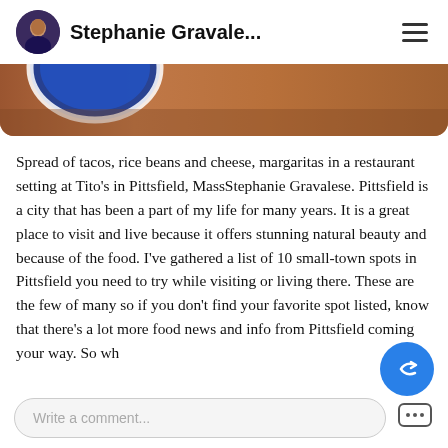Stephanie Gravale...
[Figure (photo): Partial view of food spread with blue plate visible, at Tito's restaurant in Pittsfield, Mass, warm brown tones]
Spread of tacos, rice beans and cheese, margaritas in a restaurant setting at Tito's in Pittsfield, MassStephanie Gravalese.
Pittsfield is a city that has been a part of my life for many years. It is a great place to visit and live because it offers stunning natural beauty and because of the food. I've gathered a list of 10 small-town spots in Pittsfield you need to try while visiting or living there. These are the few of many so if you don't find your favorite spot listed, know that there's a lot more food news and info from Pittsfield coming your way. So wh